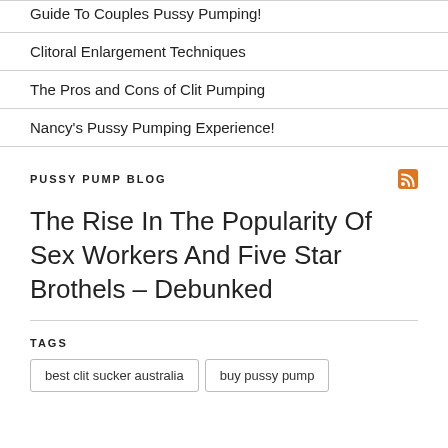Guide To Couples Pussy Pumping!
Clitoral Enlargement Techniques
The Pros and Cons of Clit Pumping
Nancy's Pussy Pumping Experience!
PUSSY PUMP BLOG
The Rise In The Popularity Of Sex Workers And Five Star Brothels – Debunked
TAGS
best clit sucker australia
buy pussy pump